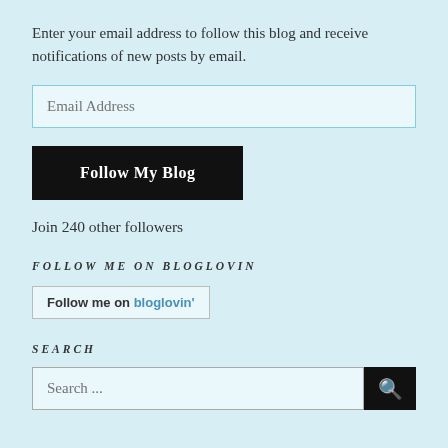Enter your email address to follow this blog and receive notifications of new posts by email.
Email Address
Follow My Blog
Join 240 other followers
FOLLOW ME ON BLOGLOVIN
Follow me on bloglovin'
SEARCH
Search ...